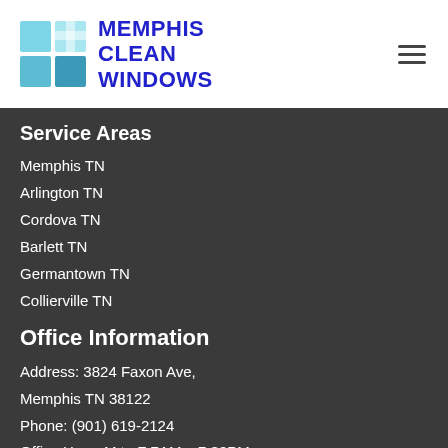[Figure (logo): Memphis Clean Windows logo with grid of blue/cyan squares and bold blue text]
Service Areas
Memphis TN
Arlington TN
Cordova TN
Barlett TN
Germantown TN
Collierville TN
Office Information
Address: 3824 Faxon Ave,
Memphis TN 38122
Phone: (901) 619-2124
Office Hour: M to F 7AM – 7:30PM